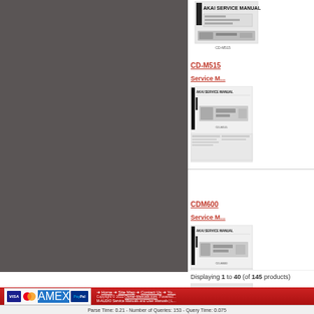[Figure (screenshot): Left gray panel — sidebar navigation area with dark gray background]
[Figure (screenshot): Partial product thumbnail at top right — AKAI service manual snippet]
CD-M515
Service M...
[Figure (photo): AKAI CD-M515 service manual thumbnail showing cover page and device]
CDM600
Service M...
[Figure (photo): AKAI CDM600 service manual thumbnail showing cover page and device]
Displaying 1 to 40 (of 145 products)
[Figure (logo): Payment logos: VISA, MasterCard, AMEX, PayPal]
Home | Site Map | Contact Us | You... Copyright © 2022 Owner-Manuals.com. Powered... M-AUDIO Service Manuals and User Manuals | L...
Parse Time: 0.21 - Number of Queries: 153 - Query Time: 0.075